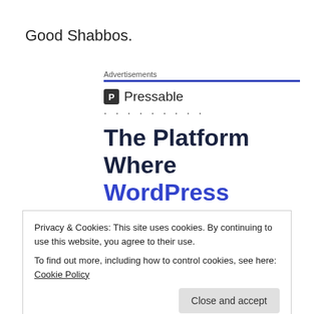Good Shabbos.
[Figure (other): Pressable advertisement banner with logo, dots, and heading 'The Platform Where WordPress Works Best']
Privacy & Cookies: This site uses cookies. By continuing to use this website, you agree to their use.
To find out more, including how to control cookies, see here: Cookie Policy
Share this: